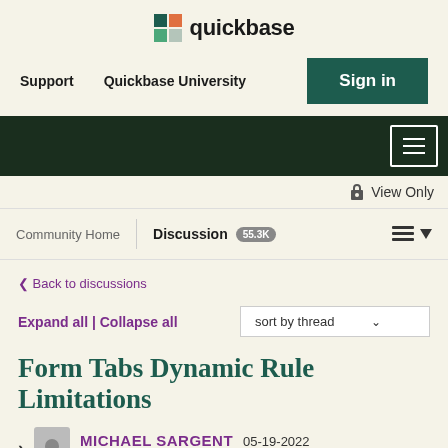quickbase
Support   Quickbase University   Sign in
[Figure (screenshot): Dark navigation bar with hamburger menu icon]
View Only
Community Home | Discussion 55.3K
< Back to discussions
Expand all | Collapse all   sort by thread
Form Tabs Dynamic Rule Limitations
MICHAEL SARGENT   05-19-2022   15:25